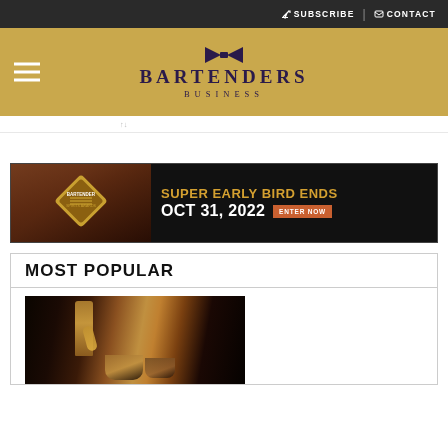SUBSCRIBE | CONTACT
[Figure (logo): Bartenders Business logo with bowtie icon, gold header background]
[Figure (infographic): Bartender Spirits Awards banner ad: Super Early Bird Ends Oct 31, 2022. Enter Now.]
MOST POPULAR
[Figure (photo): Whiskey being poured from a bottle into a glass on a dark background]